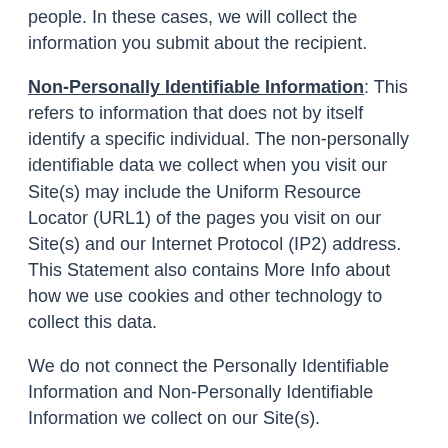people. In these cases, we will collect the information you submit about the recipient.
Non-Personally Identifiable Information: This refers to information that does not by itself identify a specific individual. The non-personally identifiable data we collect when you visit our Site(s) may include the Uniform Resource Locator (URL1) of the pages you visit on our Site(s) and our Internet Protocol (IP2) address. This Statement also contains More Info about how we use cookies and other technology to collect this data.
We do not connect the Personally Identifiable Information and Non-Personally Identifiable Information we collect on our Site(s).
3. WHY WE COLLECT YOUR INFORMATION
Our primary goals in collecting information are: